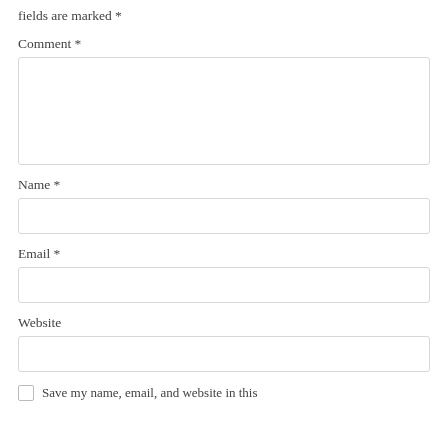fields are marked *
Comment *
Name *
Email *
Website
Save my name, email, and website in this